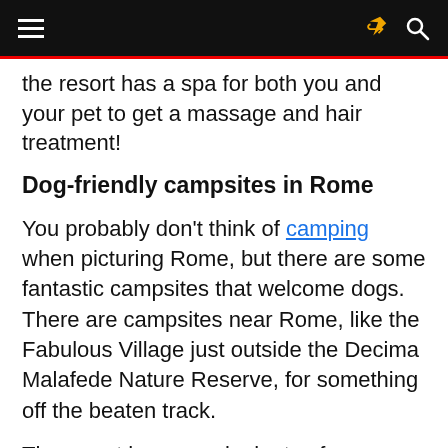Navigation bar with hamburger menu, share icon, and search icon
the resort has a spa for both you and your pet to get a massage and hair treatment!
Dog-friendly campsites in Rome
You probably don't think of camping when picturing Rome, but there are some fantastic campsites that welcome dogs. There are campsites near Rome, like the Fabulous Village just outside the Decima Malafede Nature Reserve, for something off the beaten track.
The resort has a pool, plenty of open space, and cabins that are perfect for families. It's a more affordable option than staying in the city, and the resorts are within a train ride to Rome.